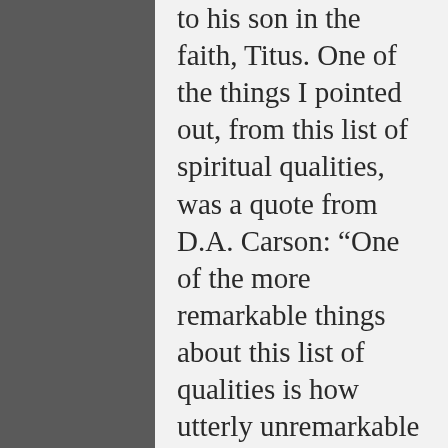to his son in the faith, Titus. One of the things I pointed out, from this list of spiritual qualities, was a quote from D.A. Carson: “One of the more remarkable things about this list of qualities is how utterly unremarkable they are.” In other words, these are “ordinary” things which you and I, every Christian, is to have within our own life. It just so happens that those who would be elders must have them and be those others would long to emulate because of that fact